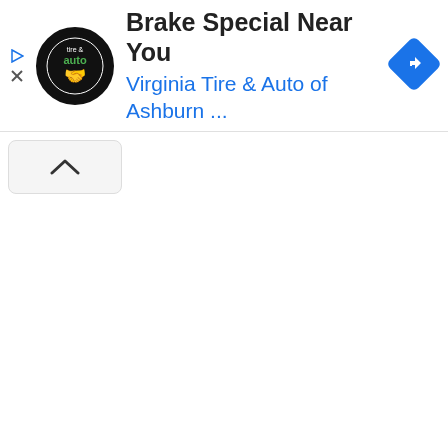[Figure (screenshot): Advertisement banner for Virginia Tire & Auto of Ashburn showing a circular logo with 'tire & auto' text, ad title 'Brake Special Near You', subtitle 'Virginia Tire & Auto of Ashburn ...', a blue diamond navigation icon, and ad control icons (play triangle and X). Below the ad is a collapse/chevron button.]